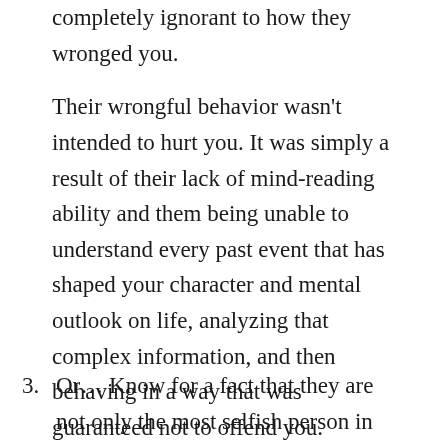completely ignorant to how they wronged you.
Their wrongful behavior wasn't intended to hurt you. It was simply a result of their lack of mind-reading ability and them being unable to understand every past event that has shaped your character and mental outlook on life, analyzing that complex information, and then behaving in a way that was guaranteed not to offend you.
3. Or… Know for a fact that they are not only the most selfish person in the world for